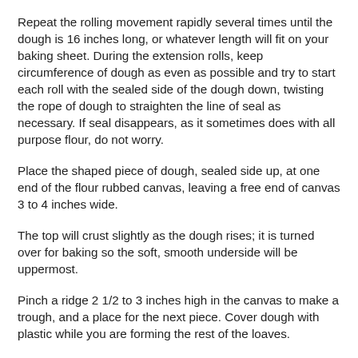Repeat the rolling movement rapidly several times until the dough is 16 inches long, or whatever length will fit on your baking sheet. During the extension rolls, keep circumference of dough as even as possible and try to start each roll with the sealed side of the dough down, twisting the rope of dough to straighten the line of seal as necessary. If seal disappears, as it sometimes does with all purpose flour, do not worry.
Place the shaped piece of dough, sealed side up, at one end of the flour rubbed canvas, leaving a free end of canvas 3 to 4 inches wide.
The top will crust slightly as the dough rises; it is turned over for baking so the soft, smooth underside will be uppermost.
Pinch a ridge 2 1/2 to 3 inches high in the canvas to make a trough, and a place for the next piece. Cover dough with plastic while you are forming the rest of the loaves.
After all the pieces of dough are in place, brace the two sides of the canvas with long rolling pins, baking sheets or books, if the dough seems very soft and wants to spread out. Cover